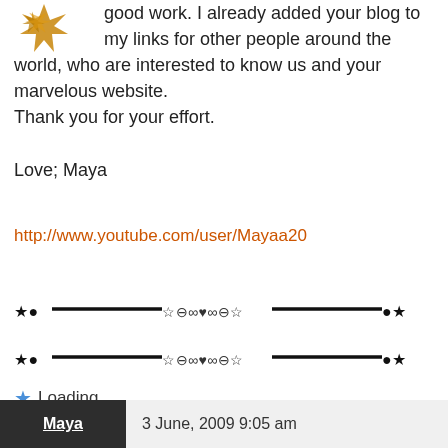[Figure (illustration): Gold/brown decorative snowflake or star avatar icon in top left corner]
good work. I already added your blog to my links for other people around the world, who are interested to know us and your marvelous website.
Thank you for your effort.

Love; Maya
http://www.youtube.com/user/Mayaa20
★●——————☆⊖∞♥∞⊖☆——————●★
★●——————☆⊖∞♥∞⊖☆——————●★
★ Loading...
Reply
Maya    3 June, 2009 9:05 am